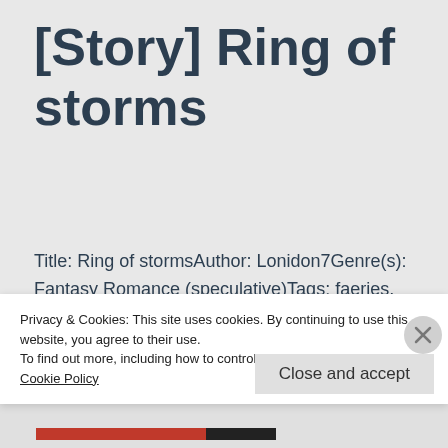[Story] Ring of storms
Title: Ring of stormsAuthor: Lonidon7Genre(s): Fantasy Romance (speculative)Tags: faeries, fairies, fantasy, love, love triangle, mate, new, psychological, prophecy, romance, suspense, thriller, war, werewolf (excluded some non-
Privacy & Cookies: This site uses cookies. By continuing to use this website, you agree to their use.
To find out more, including how to control cookies, see here:
Cookie Policy
Close and accept